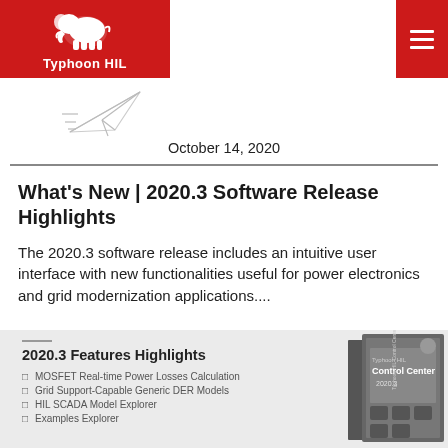Typhoon HIL
October 14, 2020
What's New | 2020.3 Software Release Highlights
The 2020.3 software release includes an intuitive user interface with new functionalities useful for power electronics and grid modernization applications....
[Figure (screenshot): 2020.3 Features Highlights panel showing feature list: MOSFET Real-time Power Losses Calculation, Grid Support-Capable Generic DER Models, HIL SCADA Model Explorer, Examples Explorer; alongside a book cover image of Typhoon HIL Control Center 2020.3]